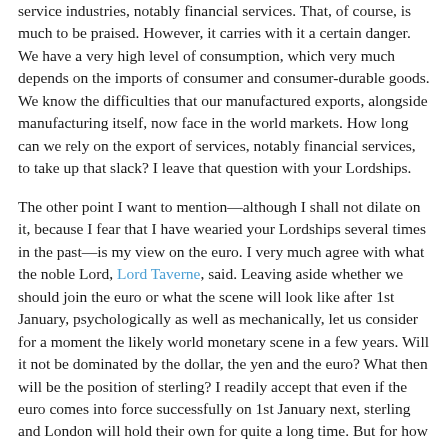service industries, notably financial services. That, of course, is much to be praised. However, it carries with it a certain danger. We have a very high level of consumption, which very much depends on the imports of consumer and consumer-durable goods. We know the difficulties that our manufactured exports, alongside manufacturing itself, now face in the world markets. How long can we rely on the export of services, notably financial services, to take up that slack? I leave that question with your Lordships.
The other point I want to mention—although I shall not dilate on it, because I fear that I have wearied your Lordships several times in the past—is my view on the euro. I very much agree with what the noble Lord, Lord Taverne, said. Leaving aside whether we should join the euro or what the scene will look like after 1st January, psychologically as well as mechanically, let us consider for a moment the likely world monetary scene in a few years. Will it not be dominated by the dollar, the yen and the euro? What then will be the position of sterling? I readily accept that even if the euro comes into force successfully on 1st January next, sterling and London will hold their own for quite a long time. But for how long?
Finally, I shall say a few words about regulation. After two other careers, I have worked in the Square Mile for 34 years. When I first worked there, regulation was practically non-existent. There was a modicum of gentle